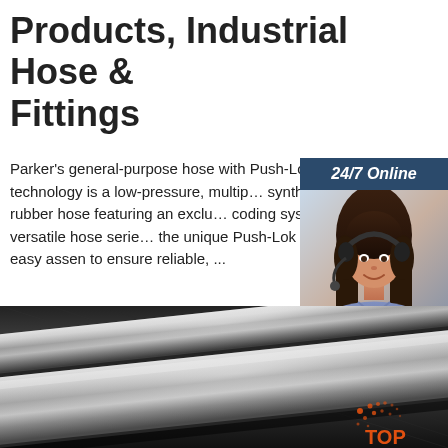Products, Industrial Hose & Fittings
Parker's general-purpose hose with Push-Lok Plus technology is a low-pressure, multip… synthetic rubber hose featuring an exclu… coding system. This versatile hose serie… the unique Push-Lok seal for easy assen to ensure reliable, ...
[Figure (screenshot): Green 'Get Price' button]
[Figure (infographic): 24/7 Online chat widget with woman wearing headset, 'Click here for free chat!' text, and orange QUOTATION button]
[Figure (photo): Close-up photo of shiny metal/chrome bars or hose fittings on dark background, with orange TOP logo in bottom right]